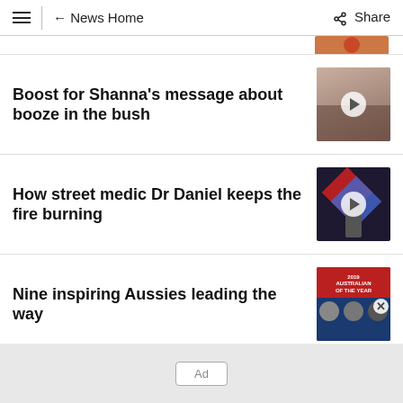≡ | ← News Home   ⋖ Share
Boost for Shanna's message about booze in the bush
How street medic Dr Daniel keeps the fire burning
Nine inspiring Aussies leading the way
Ad